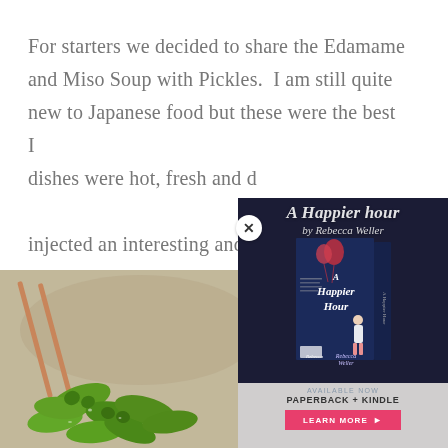For starters we decided to share the Edamame and Miso Soup with Pickles.  I am still quite new to Japanese food but these were the best I... dishes were hot, fresh and ... injected an interesting and ...
[Figure (photo): Photo of edamame (green soybeans) with chopsticks on table]
[Figure (infographic): Book advertisement overlay for 'A Happier Hour by Rebecca Weller' showing book cover, text 'AVAILABLE NOW PAPERBACK + KINDLE' and a pink 'LEARN MORE' button. Script text overlay reads 'A Happier hour by Rebecca Weller']